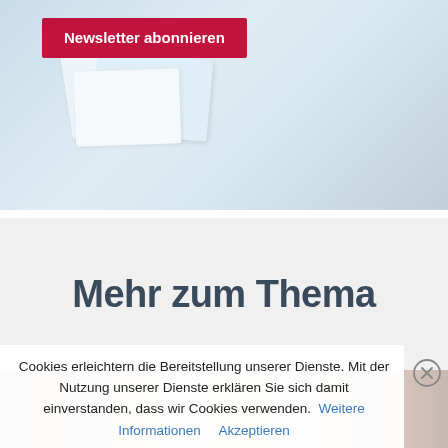[Figure (photo): Top section with a newsletter subscribe button on a light blue/grey background with envelope and paper shapes visible.]
Newsletter abonnieren
Mehr zum Thema
[Figure (photo): Bottom strip showing a close-up photo of a person's face/skin, partially visible.]
Cookies erleichtern die Bereitstellung unserer Dienste. Mit der Nutzung unserer Dienste erklären Sie sich damit einverstanden, dass wir Cookies verwenden.  Weitere Informationen   Akzeptieren